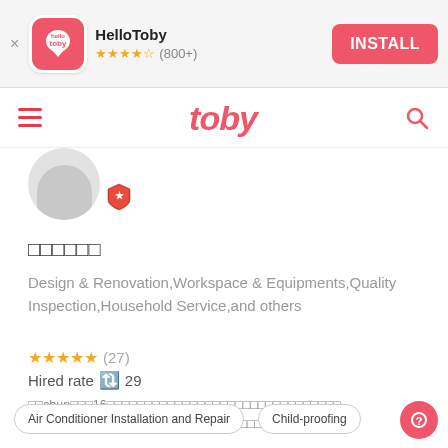[Figure (screenshot): HelloToby app install banner with logo, star rating (800+), and INSTALL button]
[Figure (screenshot): Toby website navigation bar with hamburger menu, toby logo, and search icon]
[Figure (illustration): User avatar circle with shield badge]
□□□□□□
Design & Renovation,Workspace & Equipments,Quality Inspection,Household Service,and others
★★★★★ (27)
Hired rate 🔃 29
□□chun□□□16□□□□□□□□□□□□□□□□□□□□□□□□□□□□□□□ □□□□□□□□□□□□□□□□□□□□□□□□□□□□□□□□□□□□□...
Air Conditioner Installation and Repair
Child-proofing